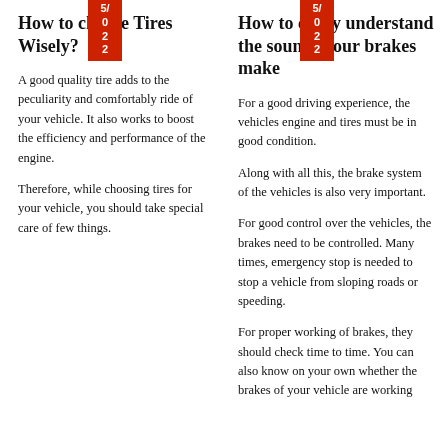How to choose Tires Wisely?
A good quality tire adds to the peculiarity and comfortably ride of your vehicle. It also works to boost the efficiency and performance of the engine.
Therefore, while choosing tires for your vehicle, you should take special care of few things.
How to easily understand the sounds your brakes make
For a good driving experience, the vehicles engine and tires must be in good condition.
Along with all this, the brake system of the vehicles is also very important.
For good control over the vehicles, the brakes need to be controlled. Many times, emergency stop is needed to stop a vehicle from sloping roads or speeding.
For proper working of brakes, they should check time to time. You can also know on your own whether the brakes of your vehicle are working